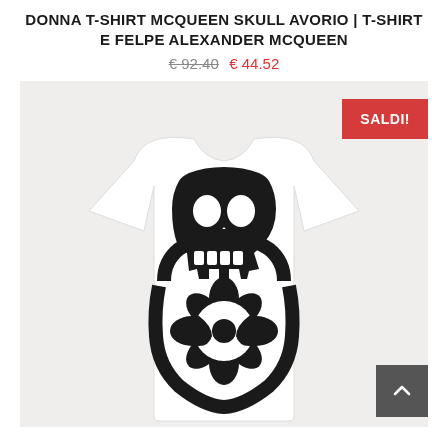DONNA T-SHIRT MCQUEEN SKULL AVORIO | T-SHIRT E FELPE ALEXANDER MCQUEEN
€ 92.40  € 44.52
[Figure (photo): White Alexander McQueen t-shirt with large black skull/graphic print on front, displayed on light gray background. A red SALDI!! badge appears top right and a gray arrow-up button appears at right.]